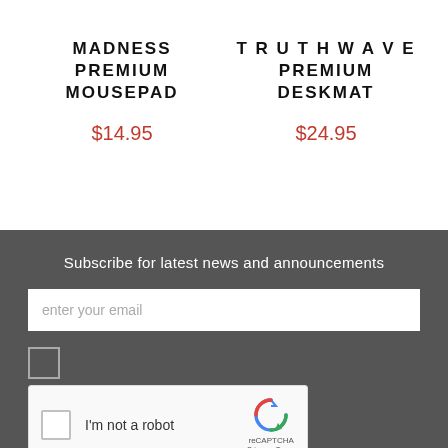MADNESS PREMIUM MOUSEPAD
$14.95
T R U T H W A V E PREMIUM DESKMAT
$24.95
Subscribe for latest news and announcements
enter your email
[Figure (screenshot): reCAPTCHA widget with checkbox labeled I'm not a robot and reCAPTCHA logo with Privacy and Terms links]